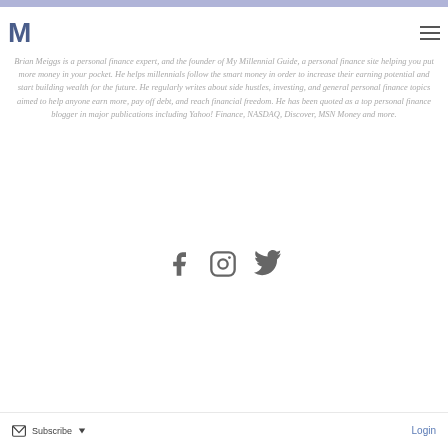M (My Millennial Guide logo) with hamburger menu icon
Brian Meiggs is a personal finance expert, and the founder of My Millennial Guide, a personal finance site helping you put more money in your pocket. He helps millennials follow the smart money in order to increase their earning potential and start building wealth for the future. He regularly writes about side hustles, investing, and general personal finance topics aimed to help anyone earn more, pay off debt, and reach financial freedom. He has been quoted as a top personal finance blogger in major publications including Yahoo! Finance, NASDAQ, Discover, MSN Money and more.
[Figure (other): Social media icons: Facebook, Instagram, Twitter in grey]
Subscribe (with envelope icon and dropdown arrow) | Login